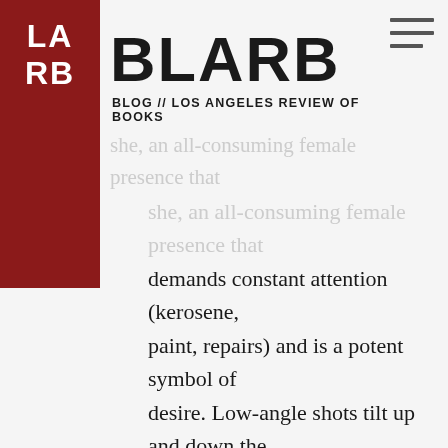[Figure (logo): LARB (Los Angeles Review of Books) logo - dark red/maroon banner with white text 'LA RB']
BLARB
BLOG // LOS ANGELES REVIEW OF BOOKS
she, an all-consuming female presence that demands constant attention (kerosene, paint, repairs) and is a potent symbol of desire. Low-angle shots tilt up and down the length of the lighthouse’s body, objectifying the phallic mistress like a mythical siren that lures men to their deaths. Alongside the mermaid that haunts Ephraim’s dreams, the queer space of the lighthouse is what Barbara Creed would call the “monstrous feminine”: it is both the womb that protects the men from the storm and the maddening, hysterical monster that castrates them. The monstrous feminine, the monster that consumes and expands and yet does not expend its own energy in doing so, is always